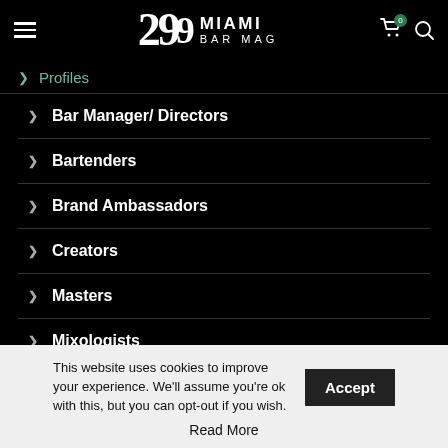299 MIAMI BAR MAG
> Profiles
> Bar Manager/ Directors
> Bartenders
> Brand Ambassadors
> Creators
> Masters
> Mixologists
This website uses cookies to improve your experience. We'll assume you're ok with this, but you can opt-out if you wish. Accept Read More